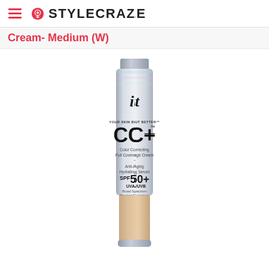STYLECRAZE
Cream- Medium (W)
[Figure (photo): IT Cosmetics Your Skin But Better CC+ Color Correcting Full Coverage Cream with Anti-Aging Hydrating Serum, SPF 50+ UVA/UVB Broad Spectrum Physical Sunscreen, in shade Medium (W). Silver metallic tube with beige/nude product tip at bottom.]